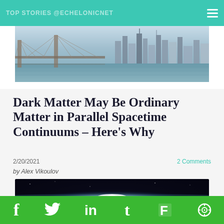Top Stories @EchelonICNET
[Figure (photo): City skyline panorama with bridge and waterfront, daytime photo]
Dark Matter May Be Ordinary Matter in Parallel Spacetime Continuums – Here's Why
2/20/2021
2 Comments
by Alex Vikoulov
[Figure (photo): Space scene showing a planet or moon with bright lens flare and sunrise over dark space background]
Social share icons: Facebook, Twitter, LinkedIn, Tumblr, Flipboard, Camera/other